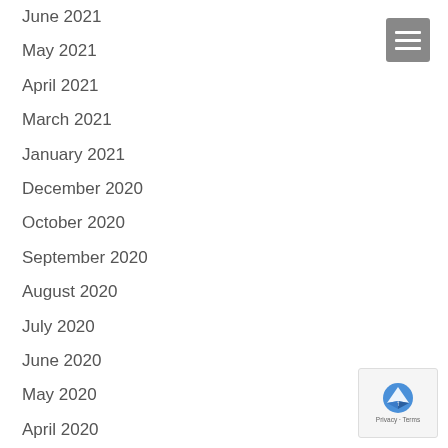June 2021
May 2021
April 2021
March 2021
January 2021
December 2020
October 2020
September 2020
August 2020
July 2020
June 2020
May 2020
April 2020
March 2020
February 2020